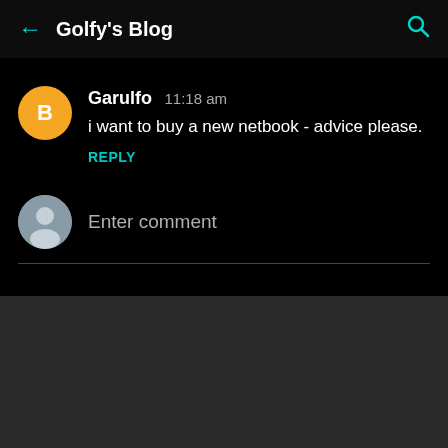← Golfy's Blog
Garulfo  11:18 am
i want to buy a new netbook - advice please.
REPLY
Enter comment